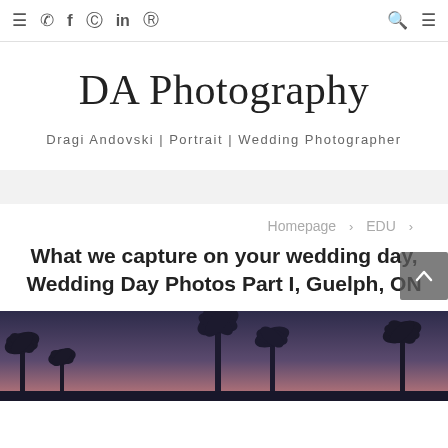≡ ☎ f ⊙ in ⊡  🔍 ≡
DA Photography
Dragi Andovski | Portrait | Wedding Photographer
Homepage > EDU >
What we capture on your wedding day, Wedding Day Photos Part I, Guelph, ON
[Figure (photo): Dark atmospheric photo of palm trees silhouetted against a twilight sky with purple/blue tones]